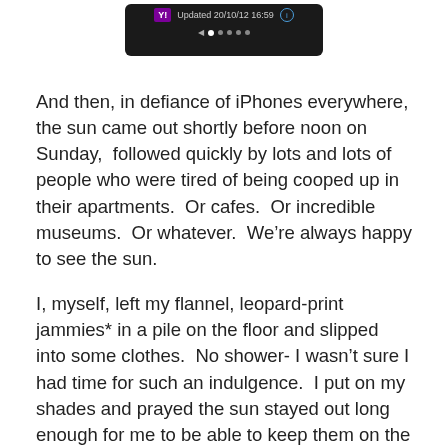[Figure (screenshot): iPhone weather widget screenshot showing Yahoo! weather updated 20/10/12 16:59 with navigation dots]
And then, in defiance of iPhones everywhere, the sun came out shortly before noon on Sunday,  followed quickly by lots and lots of people who were tired of being cooped up in their apartments.  Or cafes.  Or incredible museums.  Or whatever.  We're always happy to see the sun.
I, myself, left my flannel, leopard-print jammies* in a pile on the floor and slipped into some clothes.  No shower- I wasn't sure I had time for such an indulgence.  I put on my shades and prayed the sun stayed out long enough for me to be able to keep them on the whole time I was out, because I wasn't looking too good.
I decided to trace my old steps.  Last year I walked Wonderchien up the Champs Elysees to the Tuileries